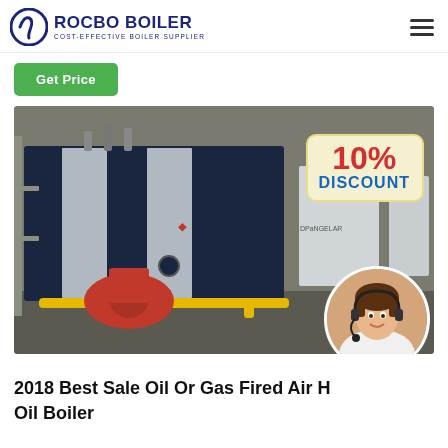ROCBO BOILER — COST-EFFECTIVE BOILER SUPPLIER
Get Price
[Figure (photo): Industrial oil or gas fired boiler in a factory setting, with a '10% DISCOUNT' badge overlay and a customer service agent photo in a circular frame at bottom right.]
2018 Best Sale Oil Or Gas Fired Air Hot Oil Boiler